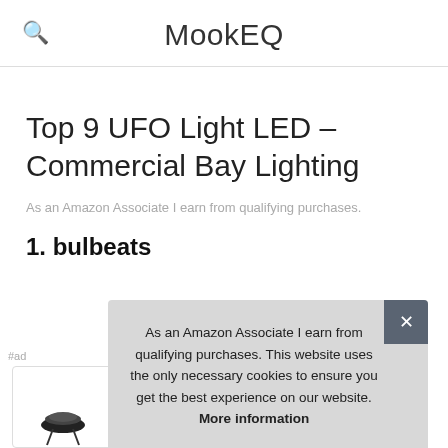MookEQ
Top 9 UFO Light LED – Commercial Bay Lighting
As an Amazon Associate I earn from qualifying purchases.
1. bulbeats
As an Amazon Associate I earn from qualifying purchases. This website uses the only necessary cookies to ensure you get the best experience on our website. More information